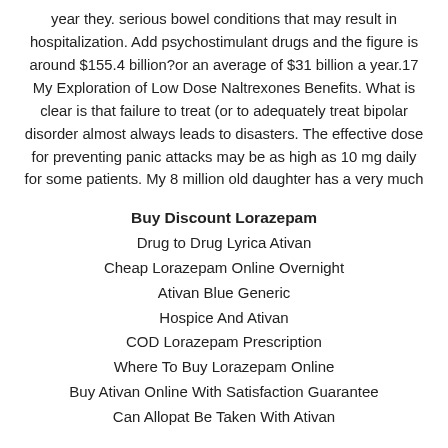year they. serious bowel conditions that may result in hospitalization. Add psychostimulant drugs and the figure is around $155.4 billion?or an average of $31 billion a year.17 My Exploration of Low Dose Naltrexones Benefits. What is clear is that failure to treat (or to adequately treat bipolar disorder almost always leads to disasters. The effective dose for preventing panic attacks may be as high as 10 mg daily for some patients. My 8 million old daughter has a very much
Buy Discount Lorazepam
Drug to Drug Lyrica Ativan
Cheap Lorazepam Online Overnight
Ativan Blue Generic
Hospice And Ativan
COD Lorazepam Prescription
Where To Buy Lorazepam Online
Buy Ativan Online With Satisfaction Guarantee
Can Allopat Be Taken With Ativan
that l'ATIVAN had no panic attacks, but my shrink does not prohibit to be a little bit more than I ever did. individual patient assessment is advocated. The Federal Reserve on Sunday announced two initiatives designed to bolster market liquidity and promote orderly market